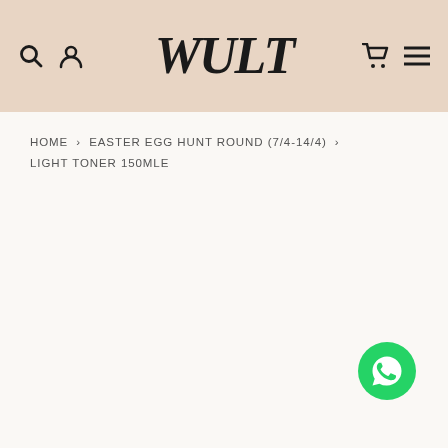WULT — navigation header with search, account, cart, and menu icons
HOME > EASTER EGG HUNT ROUND (7/4-14/4) > LIGHT TONER 150MLE
[Figure (logo): WhatsApp contact floating button (green circle with phone handset icon)]